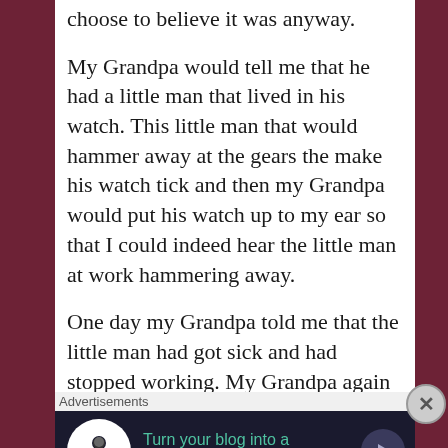choose to believe it was anyway.
My Grandpa would tell me that he had a little man that lived in his watch. This little man that would hammer away at the gears the make his watch tick and then my Grandpa would put his watch up to my ear so that I could indeed hear the little man at work hammering away.
One day my Grandpa told me that the little man had got sick and had stopped working. My Grandpa again put his watch up to my ear and he was right! I didn't hear little man hammering anymore. So my Grandpa took the watch and the little man to Sears. where the doctor was to
Advertisements
[Figure (infographic): Advertisement banner with dark background showing 'Turn your blog into a money-making online course.' with a tree/person icon on the left and an arrow button on the right.]